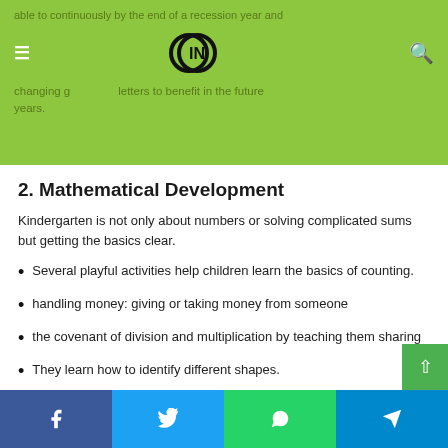able to continuously by the end of a recession year and changing g letters to benefit in the future years.
2. Mathematical Development
Kindergarten is not only about numbers or solving complicated sums but getting the basics clear.
Several playful activities help children learn the basics of counting.
handling money: giving or taking money from someone
the covenant of division and multiplication by teaching them sharing
They learn how to identify different shapes.
Facebook | Twitter | WhatsApp | Telegram